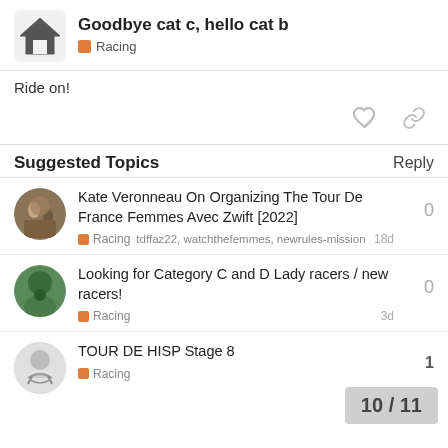Goodbye cat c, hello cat b | Racing
Ride on!
Suggested Topics
Kate Veronneau On Organizing The Tour De France Femmes Avec Zwift [2022] — Racing — tdffaz22, watchthefemmes, newrules-mission — 18d — 0 replies
Looking for Category C and D Lady racers / new racers! — Racing — 3d — 0 replies
TOUR DE HISP Stage 8 — Racing
10 / 11